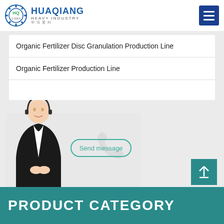HUAQIANG HEAVY INDUSTRY
Organic Fertilizer Disc Granulation Production Line
Organic Fertilizer Production Line
[Figure (photo): Customer service representative with headset, with a Send message button overlay]
PRODUCT CATEGORY